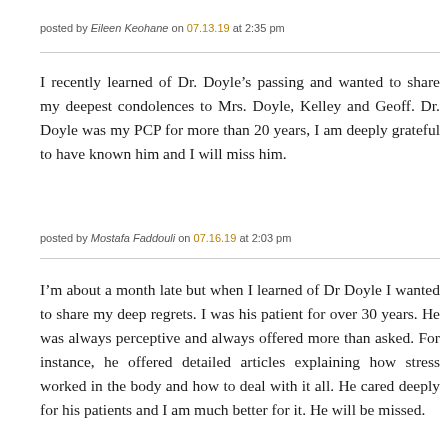posted by Eileen Keohane on 07.13.19 at 2:35 pm
I recently learned of Dr. Doyle’s passing and wanted to share my deepest condolences to Mrs. Doyle, Kelley and Geoff. Dr. Doyle was my PCP for more than 20 years, I am deeply grateful to have known him and I will miss him.
posted by Mostafa Faddouli on 07.16.19 at 2:03 pm
I’m about a month late but when I learned of Dr Doyle I wanted to share my deep regrets. I was his patient for over 30 years. He was always perceptive and always offered more than asked. For instance, he offered detailed articles explaining how stress worked in the body and how to deal with it all. He cared deeply for his patients and I am much better for it. He will be missed.